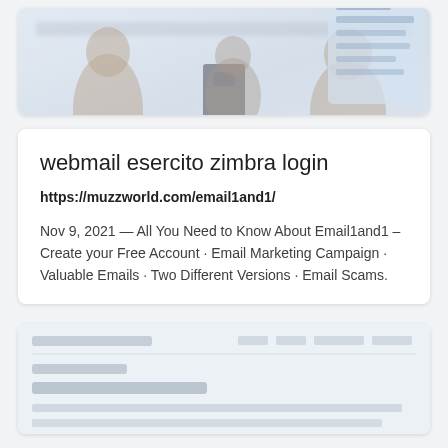[Figure (screenshot): Blurred screenshot of a webpage showing people in a meeting/office setting with a right side panel]
webmail esercito zimbra login
https://muzzworld.com/email1and1/
Nov 9, 2021 — All You Need to Know About Email1and1 – Create your Free Account · Email Marketing Campaign · Valuable Emails · Two Different Versions · Email Scams.
[Figure (screenshot): Blurred screenshot of another webpage result]